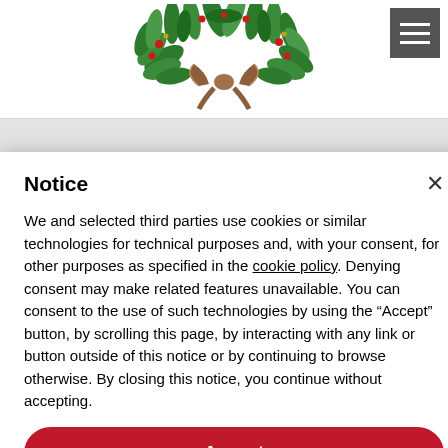[Figure (illustration): Christmas holly wreath illustration with green leaves, red berries, and brown ribbon bow at the bottom, centered at the top of the page]
Notice
We and selected third parties use cookies or similar technologies for technical purposes and, with your consent, for other purposes as specified in the cookie policy. Denying consent may make related features unavailable. You can consent to the use of such technologies by using the "Accept" button, by scrolling this page, by interacting with any link or button outside of this notice or by continuing to browse otherwise. By closing this notice, you continue without accepting.
Accept
Learn more and customize